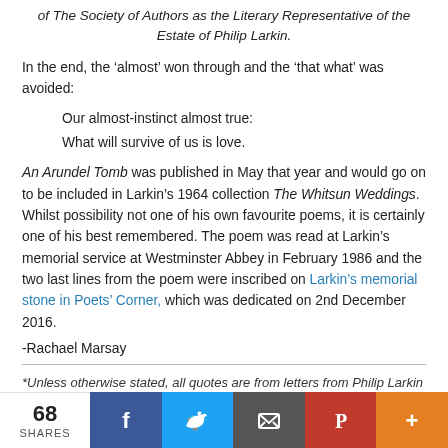of The Society of Authors as the Literary Representative of the Estate of Philip Larkin.
In the end, the ‘almost’ won through and the ‘that what’ was avoided:
Our almost-instinct almost true:
What will survive of us is love.
An Arundel Tomb was published in May that year and would go on to be included in Larkin’s 1964 collection The Whitsun Weddings. Whilst possibility not one of his own favourite poems, it is certainly one of his best remembered. The poem was read at Larkin’s memorial service at Westminster Abbey in February 1986 and the two last lines from the poem were inscribed on Larkin’s memorial stone in Poets’ Corner, which was dedicated on 2nd December 2016.
-Rachael Marsay
*Unless otherwise stated, all quotes are from letters from Philip Larkin to Monica Jones, Feb 1956-Jul 1956, Oxford, Bodleian Libraries, MS. Eng. c. 7413 and are quoted with the kind permission
68 SHARES | Facebook | Twitter | Email | Pinterest | More